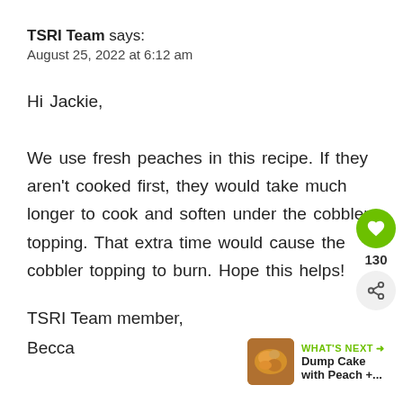TSRI Team says:
August 25, 2022 at 6:12 am
Hi Jackie,

We use fresh peaches in this recipe. If they aren't cooked first, they would take much longer to cook and soften under the cobbler topping. That extra time would cause the cobbler topping to burn. Hope this helps!

TSRI Team member,
Becca